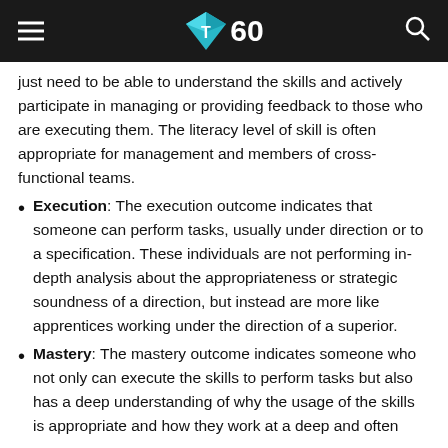T60
just need to be able to understand the skills and actively participate in managing or providing feedback to those who are executing them. The literacy level of skill is often appropriate for management and members of cross-functional teams.
Execution: The execution outcome indicates that someone can perform tasks, usually under direction or to a specification. These individuals are not performing in-depth analysis about the appropriateness or strategic soundness of a direction, but instead are more like apprentices working under the direction of a superior.
Mastery: The mastery outcome indicates someone who not only can execute the skills to perform tasks but also has a deep understanding of why the usage of the skills is appropriate and how they work at a deep and often